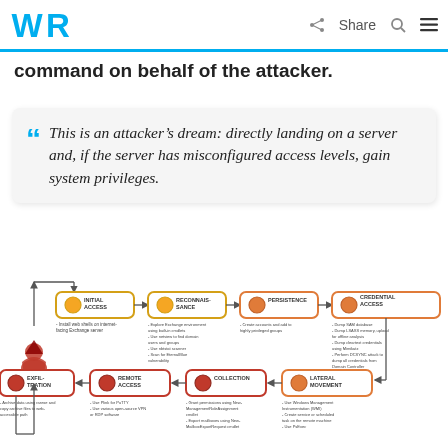WR | Share
command on behalf of the attacker.
This is an attacker's dream: directly landing on a server and, if the server has misconfigured access levels, gain system privileges.
[Figure (flowchart): Attack chain flowchart showing: Initial Access (Install web shells on internet-facing Exchange server) -> Reconnaissance (Explore Exchange environment using built-in cmdlets; Use netview to find domain users and groups; Use nbtstat scanner; Scan for EternalBlue vulnerability) -> Persistence (Create accounts and add to highly privileged groups) -> Credential Access (Dump SAM database; Dump LSASS memory upload for offline analysis; Dump cleartext credentials using Mimikatz; Perform DCSYNC attack to dump all credentials from Domain Controller). Below (reverse direction): Lateral Movement (Use Windows Management Instrumentation WMI; Create service or scheduled task on the remote machine; Use PsExec) -> Collection (Grant permissions using New-ManagementRoleAssignment cmdlet; Export mailboxes using New-MailboxExportRequest cmdlet) -> Remote Access (Use Plink for PuTTY; Use various open-source VPN or RDP software) -> Exfiltration (Archive data using rarexe and copy archive files to web-accessible path). Loop back to attacker icon on left.]